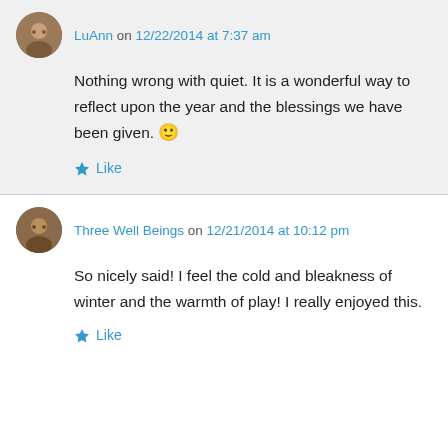LuAnn on 12/22/2014 at 7:37 am
Nothing wrong with quiet. It is a wonderful way to reflect upon the year and the blessings we have been given. 🙂
Like
Three Well Beings on 12/21/2014 at 10:12 pm
So nicely said! I feel the cold and bleakness of winter and the warmth of play! I really enjoyed this.
Like